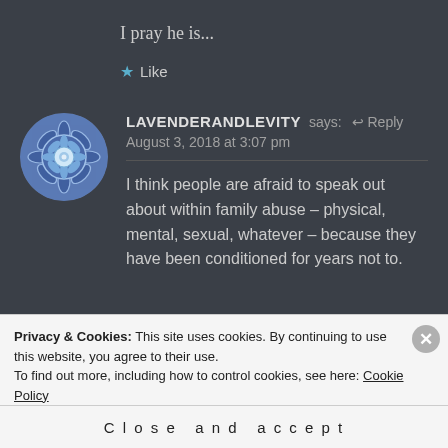I pray he is...
★ Like
[Figure (illustration): Circular mandala avatar with blue and white geometric floral pattern]
LAVENDERANDLEVITY says: ↩ Reply
August 3, 2018 at 3:07 pm
I think people are afraid to speak out about within family abuse – physical, mental, sexual, whatever – because they have been conditioned for years not to.
Privacy & Cookies: This site uses cookies. By continuing to use this website, you agree to their use.
To find out more, including how to control cookies, see here: Cookie Policy
Close and accept